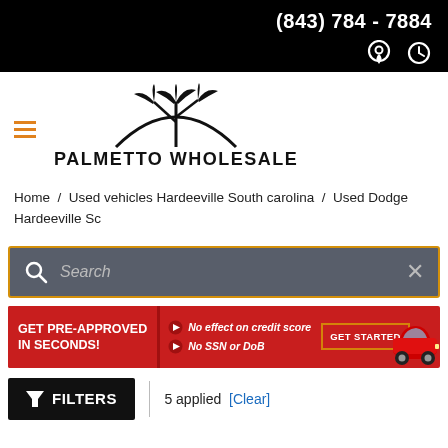(843) 784 - 7884
[Figure (logo): Palmetto Wholesale logo with palm tree icon and hamburger menu icon]
Home / Used vehicles Hardeeville South carolina / Used Dodge Hardeeville Sc
[Figure (screenshot): Search bar with magnifying glass icon, placeholder text 'Search', and close X button, outlined in orange/gold border on gray background]
[Figure (infographic): Red pre-approval banner: GET PRE-APPROVED IN SECONDS! with bullets 'No effect on credit score' and 'No SSN or DoB', GET STARTED button, and red car image]
FILTERS  |  5 applied  [Clear]